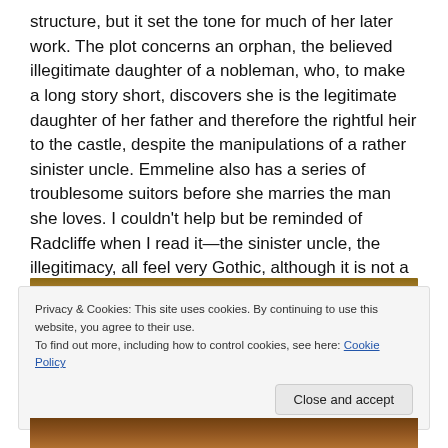structure, but it set the tone for much of her later work. The plot concerns an orphan, the believed illegitimate daughter of a nobleman, who, to make a long story short, discovers she is the legitimate daughter of her father and therefore the rightful heir to the castle, despite the manipulations of a rather sinister uncle. Emmeline also has a series of troublesome suitors before she marries the man she loves. I couldn't help but be reminded of Radcliffe when I read it—the sinister uncle, the illegitimacy, all feel very Gothic, although it is not a Gothic novel.
[Figure (photo): Partial view of a painting or image strip visible at top and bottom of page, cropped by cookie banner overlay]
Privacy & Cookies: This site uses cookies. By continuing to use this website, you agree to their use.
To find out more, including how to control cookies, see here: Cookie Policy
Close and accept